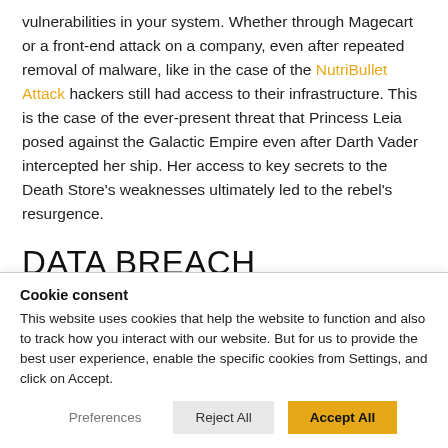vulnerabilities in your system. Whether through Magecart or a front-end attack on a company, even after repeated removal of malware, like in the case of the NutriBullet Attack hackers still had access to their infrastructure. This is the case of the ever-present threat that Princess Leia posed against the Galactic Empire even after Darth Vader intercepted her ship. Her access to key secrets to the Death Store's weaknesses ultimately led to the rebel's resurgence.
DATA BREACH MONITORING TOOL
Cookie consent
This website uses cookies that help the website to function and also to track how you interact with our website. But for us to provide the best user experience, enable the specific cookies from Settings, and click on Accept.